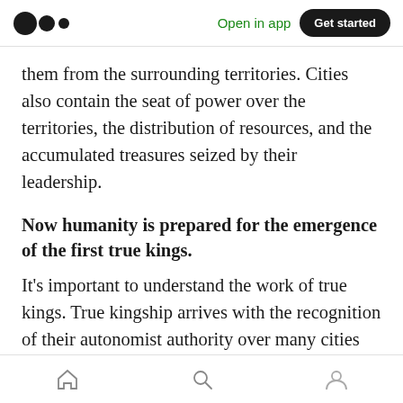Open in app  Get started
them from the surrounding territories. Cities also contain the seat of power over the territories, the distribution of resources, and the accumulated treasures seized by their leadership.
Now humanity is prepared for the emergence of the first true kings.
It's important to understand the work of true kings. True kingship arrives with the recognition of their autonomist authority over many cities and territories. Leaders would take their warriors to conquer other fortified cities but not
Home  Search  Profile